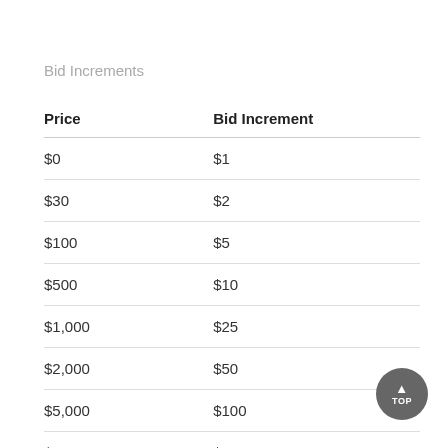Bid Increments
| Price | Bid Increment |
| --- | --- |
| $0 | $1 |
| $30 | $2 |
| $100 | $5 |
| $500 | $10 |
| $1,000 | $25 |
| $2,000 | $50 |
| $5,000 | $100 |
| $10,000 | $250 |